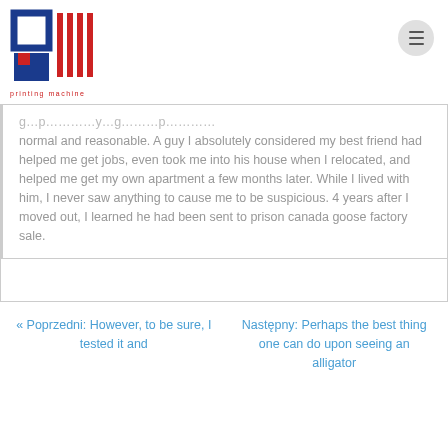[Figure (logo): Printing Machine logo with stylized PM letters in blue and red, with text 'printing machine' below]
normal and reasonable. A guy I absolutely considered my best friend had helped me get jobs, even took me into his house when I relocated, and helped me get my own apartment a few months later. While I lived with him, I never saw anything to cause me to be suspicious. 4 years after I moved out, I learned he had been sent to prison canada goose factory sale.
« Poprzedni: However, to be sure, I tested it and
Następny: Perhaps the best thing one can do upon seeing an alligator